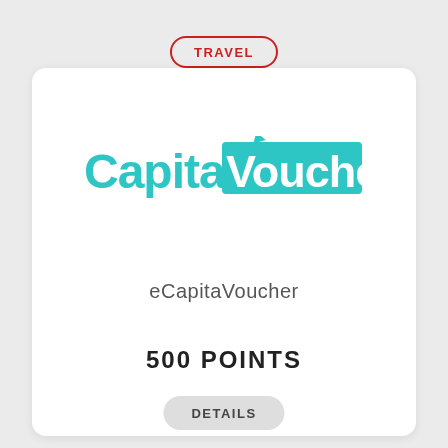TRAVEL
[Figure (logo): CapitaVoucher logo with teal text and teal rectangular background behind 'Voucher']
eCapitaVoucher
500 POINTS
DETAILS